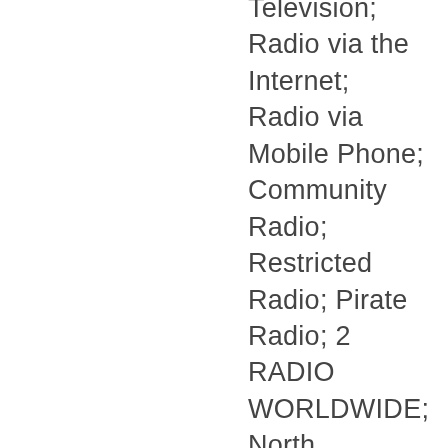Television; Radio via the Internet; Radio via Mobile Phone; Community Radio; Restricted Radio; Pirate Radio; 2 RADIO WORLDWIDE; North America; Australia and New Zealand; India; Europe; France; Germany; Spain; Italy; Ireland; The Netherlands; South Africa; Russia; The Far East; Japan; China; Thailand; Singapore; Malaysia; 3 WORKING IN RADIO NEWS; Understanding Radio PreparationNerves; Body